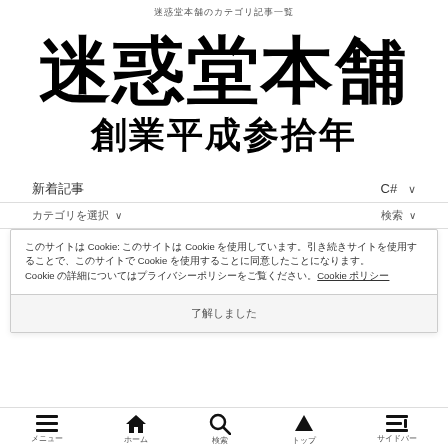迷惑堂本舗のカテゴリ記事一覧
迷惑堂本舗
創業平成参拾年
新着記事　C#　∨
カテゴリを選択　∨　検索
このサイトは Cookie を使用しています。このサイトは Cookie を使用しています。引き続きサイトを使用することで、Cookie の使用に同意したことになります。Cookie の詳細についてはプライバシーポリシーをご覧ください。 Cookie ポリシー
了解しました
メニュー　ホーム　検索　トップ　サイドバー